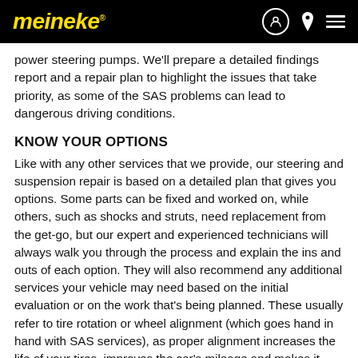meineke
power steering pumps. We'll prepare a detailed findings report and a repair plan to highlight the issues that take priority, as some of the SAS problems can lead to dangerous driving conditions.
KNOW YOUR OPTIONS
Like with any other services that we provide, our steering and suspension repair is based on a detailed plan that gives you options. Some parts can be fixed and worked on, while others, such as shocks and struts, need replacement from the get-go, but our expert and experienced technicians will always walk you through the process and explain the ins and outs of each option. They will also recommend any additional services your vehicle may need based on the initial evaluation or on the work that's being planned. These usually refer to tire rotation or wheel alignment (which goes hand in hand with SAS services), as proper alignment increases the life of your tires, improves the car's mileage and makes it easier to handle the vehicle.
THE MEINEKE PROMISE
We promise to get you back to your life as quickly as possible while ensuring you enjoy a smooth, safe and controlled ride with a properly functioning SAS system. We promise to conduct a